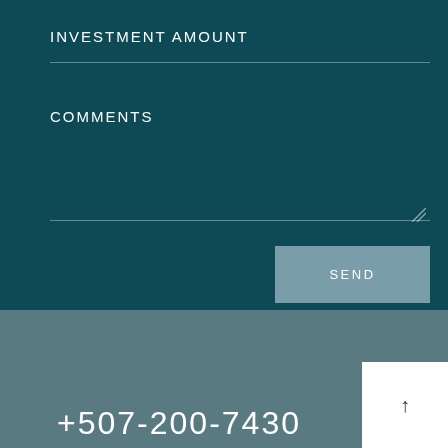INVESTMENT AMOUNT
COMMENTS
SEND
+507-200-7430
↑